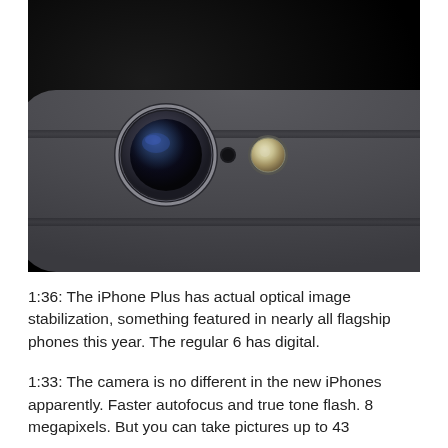[Figure (photo): Close-up photo of the back of a space gray iPhone showing the camera lens, microphone hole, and LED flash on a dark background.]
1:36: The iPhone Plus has actual optical image stabilization, something featured in nearly all flagship phones this year. The regular 6 has digital.
1:33: The camera is no different in the new iPhones apparently. Faster autofocus and true tone flash. 8 megapixels. But you can take pictures up to 43